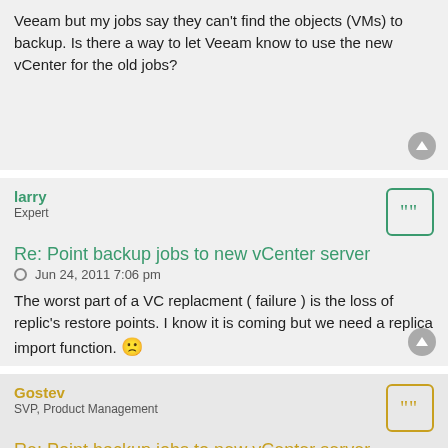Veeam but my jobs say they can't find the objects (VMs) to backup. Is there a way to let Veeam know to use the new vCenter for the old jobs?
larry
Expert
Re: Point backup jobs to new vCenter server
Jun 24, 2011 7:06 pm
The worst part of a VC replacment ( failure ) is the loss of replic's restore points. I know it is coming but we need a replica import function. 🙁
Gostev
SVP, Product Management
Re: Point backup jobs to new vCenter server
Jun 24, 2011 9:01 pm
It's not coming, rather we are making it unneeded. 😃